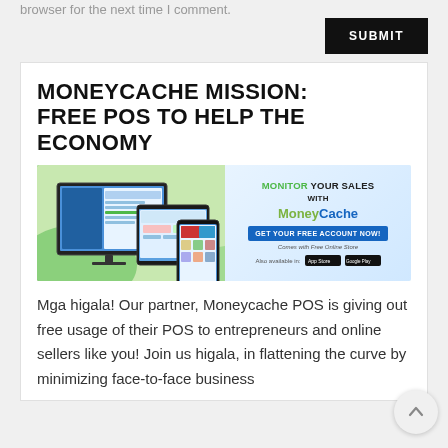browser for the next time I comment.
SUBMIT
MONEYCACHE MISSION: FREE POS TO HELP THE ECONOMY
[Figure (illustration): MoneyCa che banner ad showing desktop monitor, tablet, and smartphone displaying the MoneyCa che POS app interface. Right side shows 'MONITOR YOUR SALES WITH MoneyCa che' text, a logo, and 'GET YOUR FREE ACCOUNT NOW!' button. Bottom shows App Store and Google Play badges.]
Mga higala! Our partner, Moneycache POS is giving out free usage of their POS to entrepreneurs and online sellers like you! Join us higala, in flattening the curve by minimizing face-to-face business